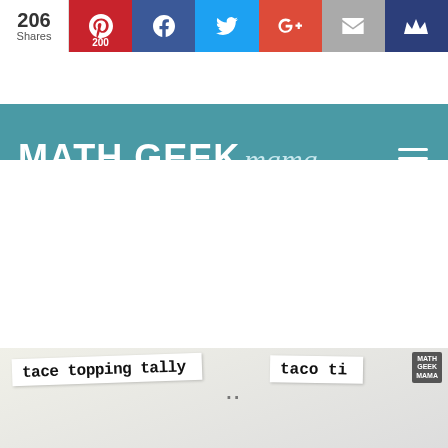206 Shares | Pinterest 200 | Facebook | Twitter | Google+ | Email | Crown
MATH GEEK mama
[Figure (photo): Partial view of a 'taco topping tally' worksheet with handwritten-style font on light background]
Ashburn OPEN 08:00 – 00:00 | 43930 Farmwell Hunt Plaza, Ashburn (CVS Pharmacy ad)